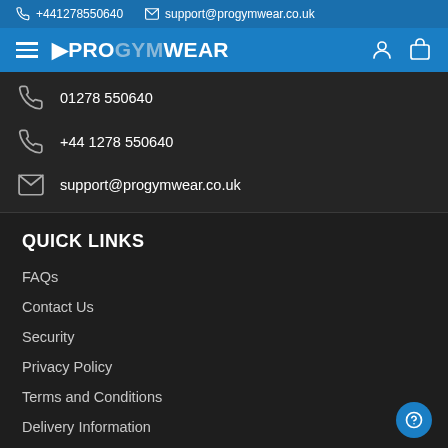+441278550640  support@progymwear.co.uk
[Figure (logo): ProGymWear logo with hamburger menu, user icon, and cart icon on blue navigation bar]
01278 550640
+44 1278 550640
support@progymwear.co.uk
QUICK LINKS
FAQs
Contact Us
Security
Privacy Policy
Terms and Conditions
Delivery Information